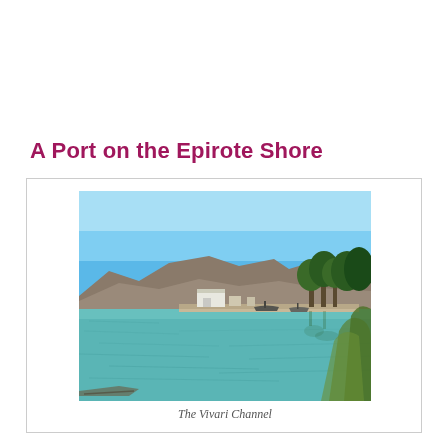A Port on the Epirote Shore
[Figure (photo): A waterway scene showing the Vivari Channel with calm blue-green water in the foreground, a dock area with boats and a white building visible in the middle distance, mountain ridges in the background under a clear blue sky, and trees on the right side. Green vegetation visible at the lower right corner.]
The Vivari Channel